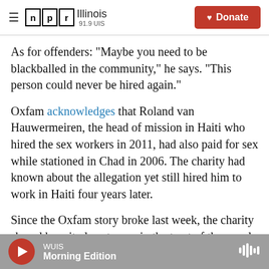NPR Illinois 91.9 UIS — Donate
As for offenders: "Maybe you need to be blackballed in the community," he says. "This person could never be hired again."
Oxfam acknowledges that Roland van Hauwermeiren, the head of mission in Haiti who hired the sex workers in 2011, had also paid for sex while stationed in Chad in 2006. The charity had known about the allegation yet still hired him to work in Haiti four years later.
Since the Oxfam story broke last week, the charity shared how it plans to regain the trust of the people
WUIS — Morning Edition